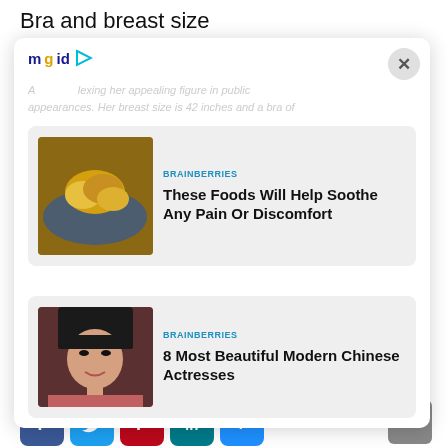Bra and breast size
[Figure (screenshot): MGID sponsored content overlay with two content cards: 1) BRAINBERRIES - These Foods Will Help Soothe Any Pain Or Discomfort (with food image), 2) BRAINBERRIES - 8 Most Beautiful Modern Chinese Actresses (with actress photo). Modal has close X button in top right corner.]
Bra Size: 38B
Cup size: B
[Figure (infographic): Social sharing buttons: Facebook (blue), Twitter (light blue), Pinterest (dark red), LinkedIn (teal), More/Plus (blue)]
Body Measurement: 42-27-38 in, or 109-69-97 cm